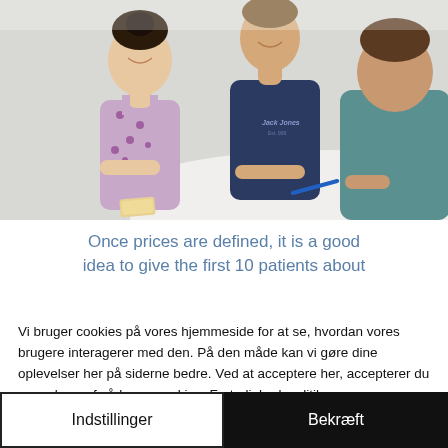[Figure (photo): Three people (two women and one man) sitting around a white table, smiling and interacting, in a bright room. One woman wears a patterned dress, the man wears a navy blue t-shirt, the other person wears a teal shirt viewed from behind.]
Once prices are defined, it is a good idea to give the first 10 patients about
Vi bruger cookies på vores hjemmeside for at se, hvordan vores brugere interagerer med den. På den måde kan vi gøre dine oplevelser her på siderne bedre. Ved at acceptere her, accepterer du vores brug af sådanne cookies. Fortrolighedspolitik
Indstillinger
Bekræft